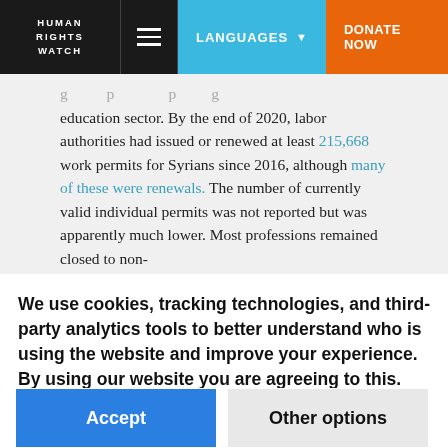HUMAN RIGHTS WATCH | LANGUAGES | DONATE NOW
education sector. By the end of 2020, labor authorities had issued or renewed at least 215,668 work permits for Syrians since 2016, although many of these were renewals. The number of currently valid individual permits was not reported but was apparently much lower. Most professions remained closed to non-
We use cookies, tracking technologies, and third-party analytics tools to better understand who is using the website and improve your experience. By using our website you are agreeing to this. Read our privacy policy to find out what cookies are used for and how to change your settings.
Accept | Other options